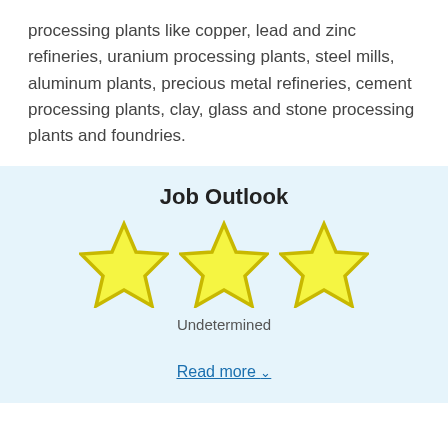processing plants like copper, lead and zinc refineries, uranium processing plants, steel mills, aluminum plants, precious metal refineries, cement processing plants, clay, glass and stone processing plants and foundries.
Job Outlook
[Figure (infographic): Three yellow outlined stars representing a rating of Undetermined for Job Outlook]
Undetermined
Read more ∨
Hourly Pay